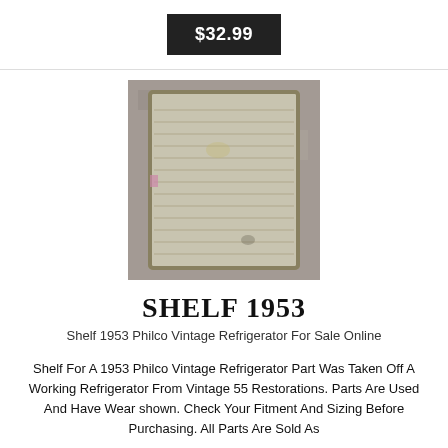$32.99
[Figure (photo): A metal wire refrigerator shelf with a rectangular frame, photographed against a concrete background. The shelf shows signs of use and wear.]
SHELF 1953
Shelf 1953 Philco Vintage Refrigerator For Sale Online
Shelf For A 1953 Philco Vintage Refrigerator Part Was Taken Off A Working Refrigerator From Vintage 55 Restorations. Parts Are Used And Have Wear shown. Check Your Fitment And Sizing Before Purchasing. All Parts Are Sold As